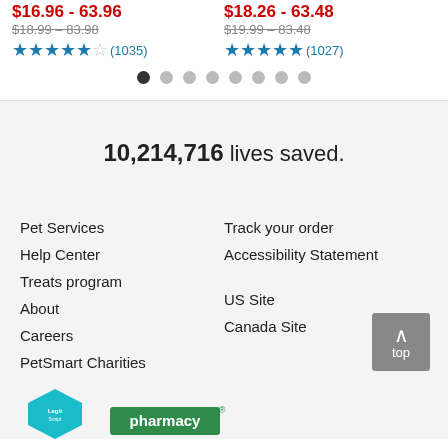$16.96 - 63.96 / $18.99 - 83.98 / ★★★★½ (1035)
$18.26 - 63.48 / $19.99 - 83.48 / ★★★★½ (1027)
10,214,716 lives saved.
Pet Services
Help Center
Treats program
About
Careers
PetSmart Charities
Track your order
Accessibility Statement
US Site
Canada Site
[Figure (logo): LegitScript badge - blue/teal rounded hexagon shape with LegitScript logo]
[Figure (logo): pharmacy logo - green rectangle with white text reading 'pharmacy']